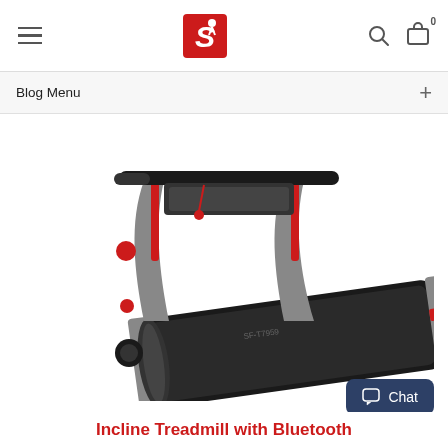Blog Menu
[Figure (photo): A Sunny Health & Fitness incline treadmill (model SF-T7959) with a gray and red frame, black running belt, pull-up bar handlebars, and transport wheels, shown on a white background.]
Chat
Incline Treadmill with Bluetooth